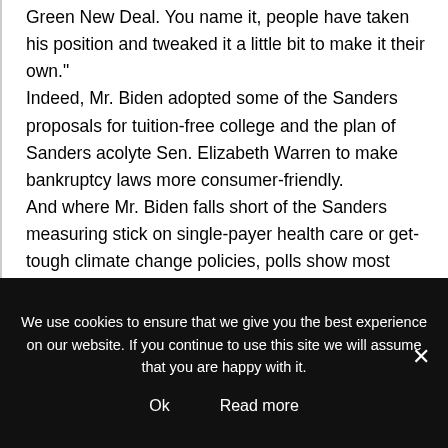Green New Deal. You name it, people have taken his position and tweaked it a little bit to make it their own." Indeed, Mr. Biden adopted some of the Sanders proposals for tuition-free college and the plan of Sanders acolyte Sen. Elizabeth Warren to make bankruptcy laws more consumer-friendly. And where Mr. Biden falls short of the Sanders measuring stick on single-payer health care or get-tough climate change policies, polls show most Democratic
We use cookies to ensure that we give you the best experience on our website. If you continue to use this site we will assume that you are happy with it.